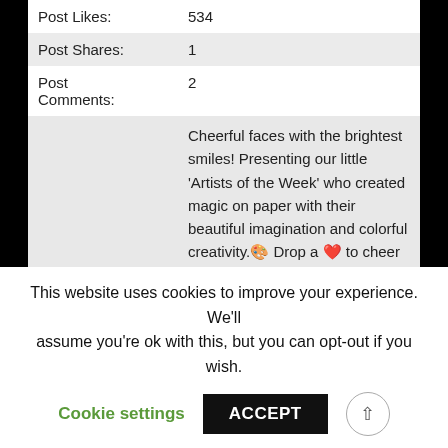| Post Likes: | 534 |
| Post Shares: | 1 |
| Post
Comments: | 2 |
|  | Cheerful faces with the brightest smiles! Presenting our little ‘Artists of the Week’ who created magic on paper with their beautiful imagination and colorful creativity.🎨 Drop a ❤️ to cheer on our cutest and artistic tiny tots! 👦 #Amelio #Preschool #OnlineClasses #OnlineLearning #PrivateClasses #LiveClasses |
| Message: |  |
This website uses cookies to improve your experience. We'll assume you're ok with this, but you can opt-out if you wish.
Cookie settings    ACCEPT